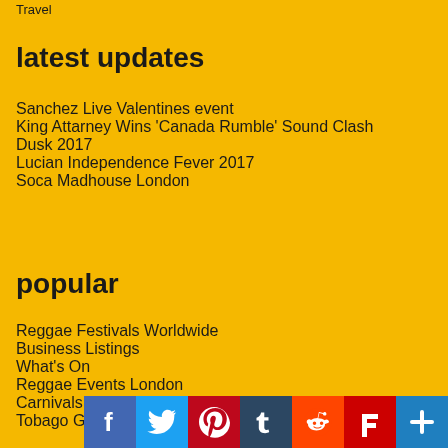Travel
latest updates
Sanchez Live Valentines event
King Attarney Wins 'Canada Rumble' Sound Clash
Dusk 2017
Lucian Independence Fever 2017
Soca Madhouse London
popular
Reggae Festivals Worldwide
Business Listings
What's On
Reggae Events London
Carnivals in the UK
Tobago Golf Courses
[Figure (other): Social sharing icons: Facebook, Twitter, Pinterest, Tumblr, Reddit, Flipboard, More]